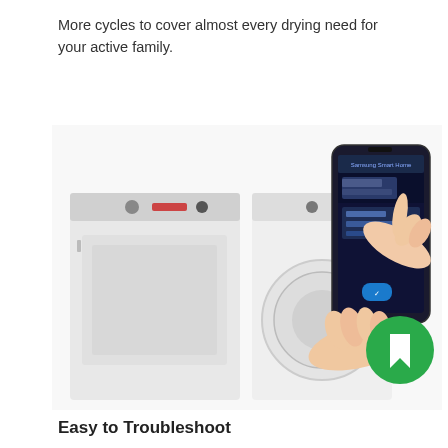More cycles to cover almost every drying need for your active family.
[Figure (photo): Product photo showing a Samsung top-load washer and front-load dryer in white, alongside hands holding a Samsung smartphone displaying the Samsung Smart Home app interface.]
[Figure (logo): Green circular icon with a white bookmark/ribbon symbol (Samsung Smart Home or app notification icon).]
Easy to Troubleshoot